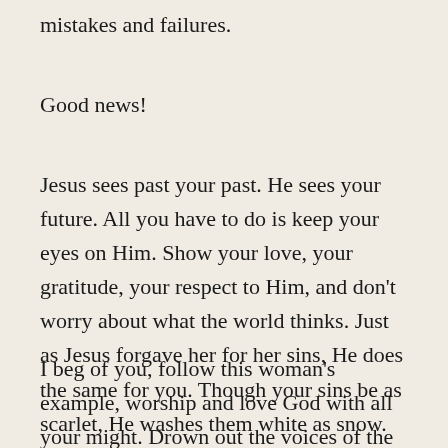mistakes and failures.
Good news!
Jesus sees past your past. He sees your future. All you have to do is keep your eyes on Him. Show your love, your gratitude, your respect to Him, and don't worry about what the world thinks. Just as Jesus forgave her for her sins, He does the same for you. Though your sins be as scarlet, He washes them white as snow.
I beg of you, follow this woman's example, worship and love God with all your might. Drown out the voices of the world and listen for His voice. He is the way the